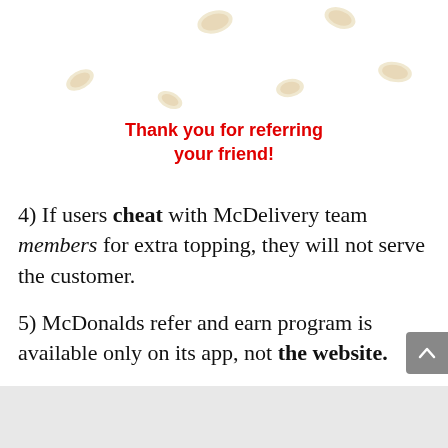[Figure (illustration): Decorative confetti/food chips scattered at the top of the page]
Thank you for referring your friend!
4) If users cheat with McDelivery team members for extra topping, they will not serve the customer.
5) McDonalds refer and earn program is available only on its app, not the website.
How to Order Food Items on McDonalds: